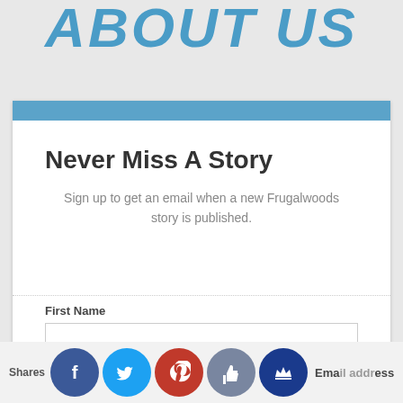ABOUT US
Never Miss A Story
Sign up to get an email when a new Frugalwoods story is published.
First Name
Email Address
[Figure (infographic): Social sharing bar with Facebook, Twitter, Pinterest, thumbs-up, and crown icons. 'Shares' label on left.]